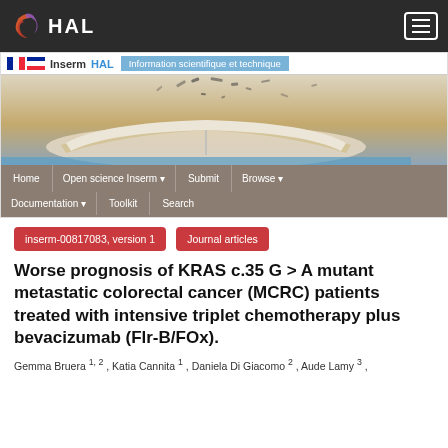HAL - Navigation bar
[Figure (screenshot): InsermHAL banner with open book image and navigation menu including Home, Open science Inserm, Submit, Browse, Documentation, Toolkit, Search]
inserm-00817083, version 1   Journal articles
Worse prognosis of KRAS c.35 G > A mutant metastatic colorectal cancer (MCRC) patients treated with intensive triplet chemotherapy plus bevacizumab (Flr-B/FOx).
Gemma Bruera 1, 2 , Katia Cannita 1 , Daniela Di Giacomo 2 , Aude Lamy 3 ,